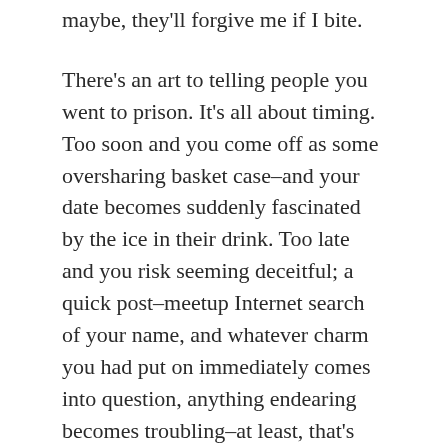maybe, they'll forgive me if I bite.
There's an art to telling people you went to prison. It's all about timing. Too soon and you come off as some oversharing basket case–and your date becomes suddenly fascinated by the ice in their drink. Too late and you risk seeming deceitful; a quick post–meetup Internet search of your name, and whatever charm you had put on immediately comes into question, anything endearing becomes troubling–at least, that's what I worry about on those long bus rides home. For me, every time that I am introduced to someone new, it feels like the clock is running: the small talk can only go on so long, and my answers to seemingly innocuous questions be so cryptic before it starts to feel like I'm lying. So, Marco,